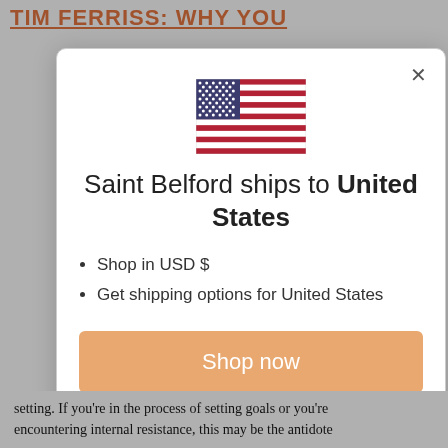TIM FERRISS: WHY YOU
[Figure (screenshot): Modal dialog showing US flag, 'Saint Belford ships to United States', bullet list with 'Shop in USD $' and 'Get shipping options for United States', an orange 'Shop now' button, and a 'Change shipping country' link. Has an X close button in top right.]
setting. If you're in the process of setting goals or you're encountering internal resistance, this may be the antidote